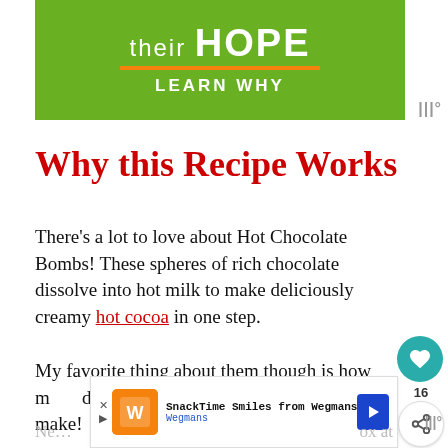[Figure (other): Advertisement banner with green background showing partial text 'their HOPE' and 'LEARN WHY' with an orange horizontal bar]
Why this Recipe Works
There's a lot to love about Hot Chocolate Bombs! These spheres of rich chocolate dissolve into hot milk to make deliciously creamy hot cocoa in one step.
My favorite thing about them though is how many different flavors and varieties you can make!
This spin on a classic white chocolate bomb is covered with confetti sprinkles. Perfect for a birthday party!
[Figure (other): Advertisement banner at bottom for SnackTime Smiles from Wegmans with orange logo]
Ne… ox at